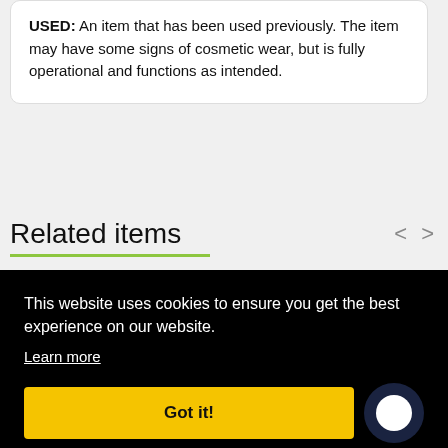USED: An item that has been used previously. The item may have some signs of cosmetic wear, but is fully operational and functions as intended.
Related items
GE
GE Refrigerator Deli Drawer...
KitchenAid
KitchenAid Refrigerator Ele...
This website uses cookies to ensure you get the best experience on our website.
Learn more
Got it!